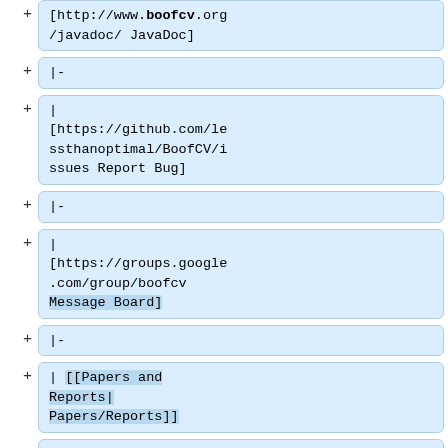+ [http://www.boofcv.org/javadoc/ JavaDoc]
+ |-
+ | [https://github.com/lessthanoptimal/BoofCV/issues Report Bug]
+ |-
+ | [https://groups.google.com/group/boofcv Message Board]
+ |-
+ | [[Papers and Reports| Papers/Reports]]
+ |}